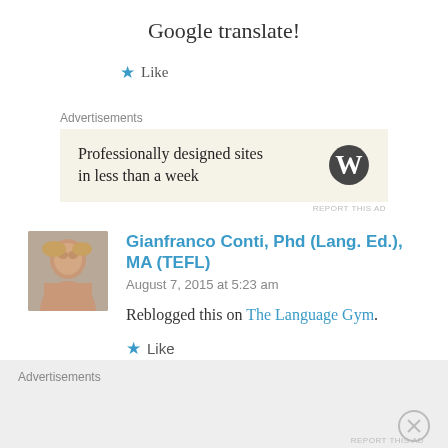Google translate!
★ Like
Advertisements
[Figure (infographic): WordPress advertisement banner with text 'Professionally designed sites in less than a week' and WordPress logo on beige background]
REPORT THIS AD
Gianfranco Conti, Phd (Lang. Ed.), MA (TEFL)
August 7, 2015 at 5:23 am
Reblogged this on The Language Gym.
★ Like
Advertisements
REPORT THIS AD